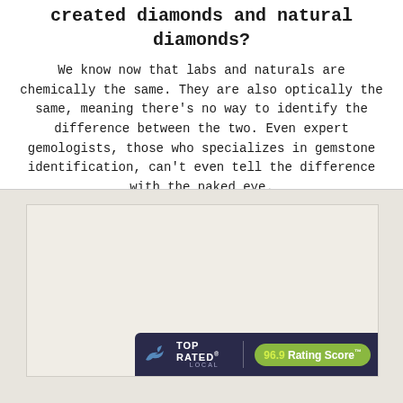created diamonds and natural diamonds?
We know now that labs and naturals are chemically the same. They are also optically the same, meaning there's no way to identify the difference between the two. Even expert gemologists, those who specializes in gemstone identification, can't even tell the difference with the naked eye.
[Figure (other): Advertisement placeholder box with Top Rated Local banner at bottom right showing 96.9 Rating Score]